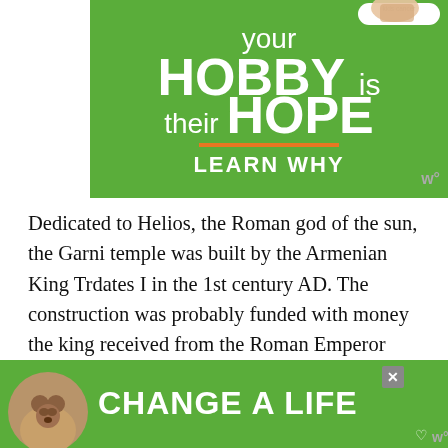[Figure (infographic): Green advertisement banner for Kids Cancer charity. Text reads 'your HOBBY is their HOPE LEARN WHY' with an orange underline. A hand holding a coin is shown in the upper right, along with a Kids Cancer badge.]
Dedicated to Helios, the Roman god of the sun, the Garni temple was built by the Armenian King Trdates I in the 1st century AD. The construction was probably funded with money the king received from the Roman Emperor Nero in exchange for military support against the Parthian empire. Unlike other Greco-Roman temples, it is made of basalt. In 1679 an earthquake completely destroyed the ancient Roman te...
[Figure (infographic): Green advertisement banner at the bottom with a dog photo on the left and bold white text 'CHANGE A LIFE' with a close/X button and Wm logo.]